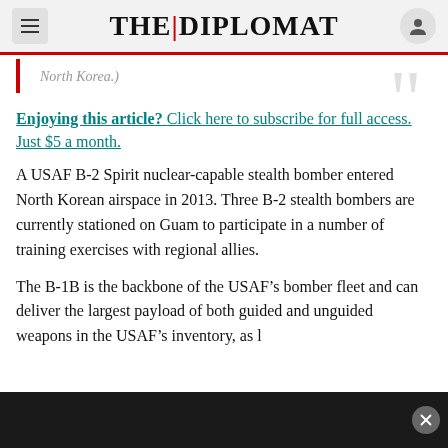THE DIPLOMAT
North Korea.)
Enjoying this article? Click here to subscribe for full access. Just $5 a month.
A USAF B-2 Spirit nuclear-capable stealth bomber entered North Korean airspace in 2013. Three B-2 stealth bombers are currently stationed on Guam to participate in a number of training exercises with regional allies.
The B-1B is the backbone of the USAF’s bomber fleet and can deliver the largest payload of both guided and unguided weapons in the USAF’s inventory, as l